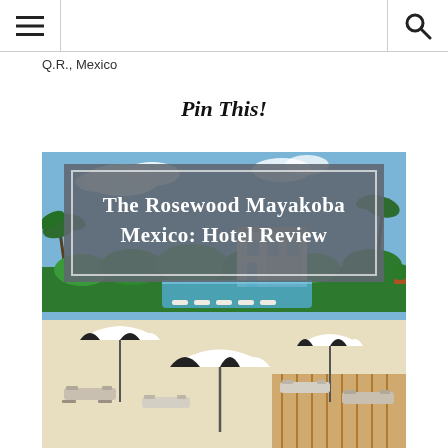☰  Q.R., Mexico  🔍
Q.R., Mexico
Pin This!
[Figure (photo): Hotel review Pinterest pin image for The Rosewood Mayakoba Mexico, showing a beach with black-and-white striped umbrellas, lounge chairs, a swimming pool, and a white resort building surrounded by palm trees and lush greenery under a blue sky.]